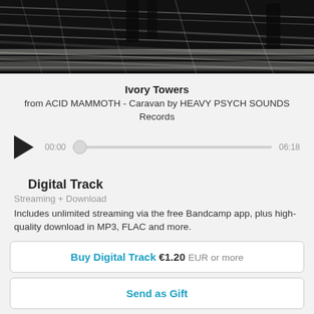[Figure (photo): Black and white grainy album art photo showing figures in a landscape, top portion of the page]
Ivory Towers
from ACID MAMMOTH - Caravan by HEAVY PSYCH SOUNDS Records
[Figure (other): Audio player with play button, time display 00:00, scrubber slider, and end time 06:18]
Digital Track
Streaming + Download
Includes unlimited streaming via the free Bandcamp app, plus high-quality download in MP3, FLAC and more.
Buy Digital Track  €1.20  EUR  or more
Send as Gift